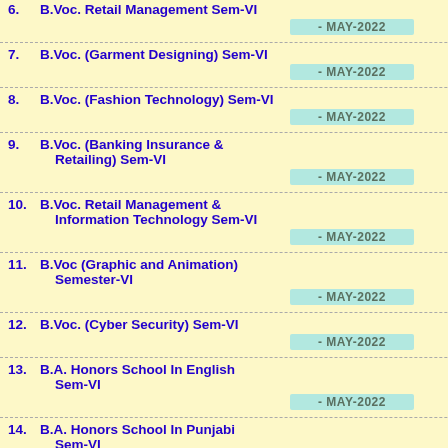6. B.Voc. Retail Management Sem-VI - MAY-2022
7. B.Voc. (Garment Designing) Sem-VI - MAY-2022
8. B.Voc. (Fashion Technology) Sem-VI - MAY-2022
9. B.Voc. (Banking Insurance & Retailing) Sem-VI - MAY-2022
10. B.Voc. Retail Management & Information Technology Sem-VI - MAY-2022
11. B.Voc (Graphic and Animation) Semester-VI - MAY-2022
12. B.Voc. (Cyber Security) Sem-VI - MAY-2022
13. B.A. Honors School In English Sem-VI - MAY-2022
14. B.A. Honors School In Punjabi Sem-VI - MAY-2022
15. B.A. Honors in Urdu (For Foreign Students) Sem-Vi - MAY-2022